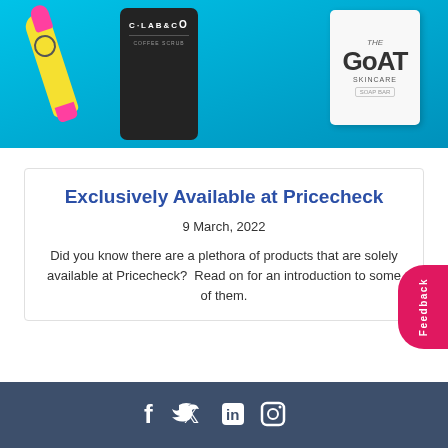[Figure (photo): Hero image showing three skincare/beauty products on a blue background: a yellow sunscreen tube with pink cap, a dark coffee scrub bag (C Lab & Co Coffee Scrub), and a white Goat Skincare soap bar box.]
Exclusively Available at Pricecheck
9 March, 2022
Did you know there are a plethora of products that are solely available at Pricecheck?  Read on for an introduction to some of them.
Social media icons: Facebook, Twitter, LinkedIn, Instagram